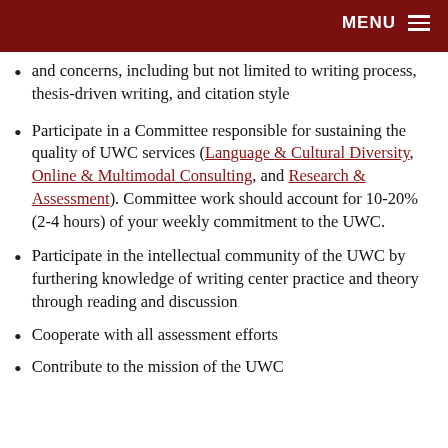MENU
and concerns, including but not limited to writing process, thesis-driven writing, and citation style
Participate in a Committee responsible for sustaining the quality of UWC services (Language & Cultural Diversity, Online & Multimodal Consulting, and Research & Assessment). Committee work should account for 10-20% (2-4 hours) of your weekly commitment to the UWC.
Participate in the intellectual community of the UWC by furthering knowledge of writing center practice and theory through reading and discussion
Cooperate with all assessment efforts
Contribute to the mission of the UWC...